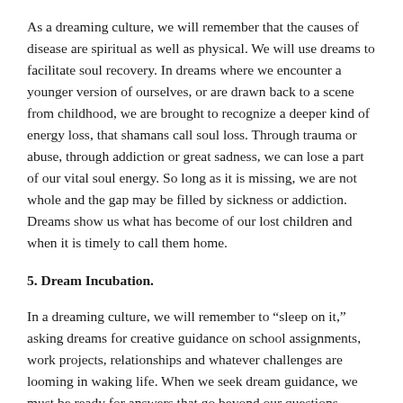As a dreaming culture, we will remember that the causes of disease are spiritual as well as physical. We will use dreams to facilitate soul recovery. In dreams where we encounter a younger version of ourselves, or are drawn back to a scene from childhood, we are brought to recognize a deeper kind of energy loss, that shamans call soul loss. Through trauma or abuse, through addiction or great sadness, we can lose a part of our vital soul energy. So long as it is missing, we are not whole and the gap may be filled by sickness or addiction. Dreams show us what has become of our lost children and when it is timely to call them home.
5. Dream Incubation.
In a dreaming culture, we will remember to “sleep on it,” asking dreams for creative guidance on school assignments, work projects, relationships and whatever challenges are looming in waking life. When we seek dream guidance, we must be ready for answers that go beyond our questions, because the dream source is infinitely deeper and wiser than what Yeats called the “daily trivial mind.”
6. Using Dream Radar.